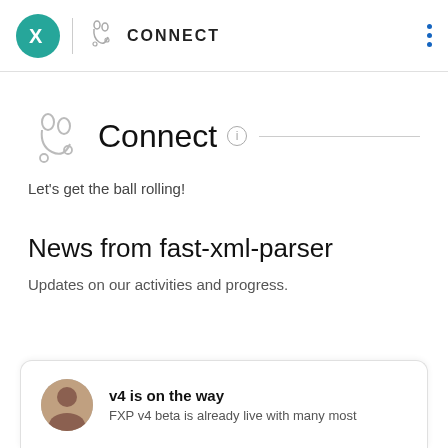CONNECT
Connect
Let's get the ball rolling!
News from fast-xml-parser
Updates on our activities and progress.
v4 is on the way
FXP v4 beta is already live with many most